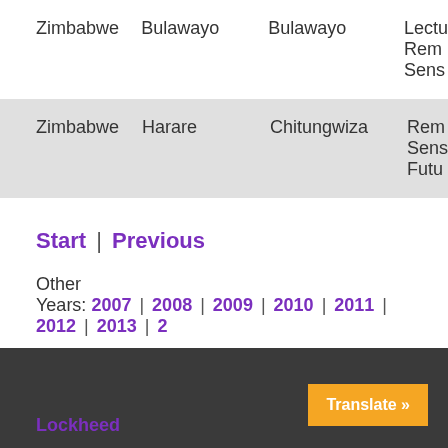| Country | Province/State | City | Course |
| --- | --- | --- | --- |
| Zimbabwe | Bulawayo | Bulawayo | Lectu Remote Sens... |
| Zimbabwe | Harare | Chitungwiza | Remo Sens Futu... |
Start | Previous
Other Years: 2007 | 2008 | 2009 | 2010 | 2011 | 2012 | 2013 | ...
Lockheed  [Translate »]